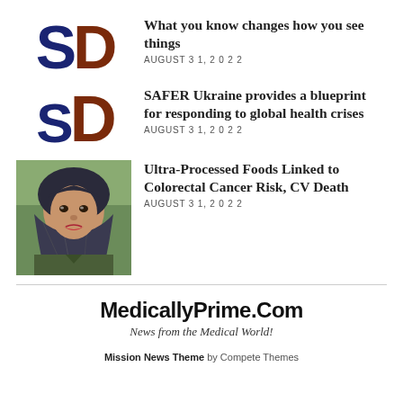[Figure (logo): SD logo with dark blue S and dark brown D, large stylized letters]
What you know changes how you see things
AUGUST 31, 2022
[Figure (logo): SD logo with dark blue S and dark brown D, stylized letters second instance]
SAFER Ukraine provides a blueprint for responding to global health crises
AUGUST 31, 2022
[Figure (photo): Portrait photo of a woman wearing a hijab, outdoors]
Ultra-Processed Foods Linked to Colorectal Cancer Risk, CV Death
AUGUST 31, 2022
MedicallyPrime.Com
News from the Medical World!
Mission News Theme by Compete Themes